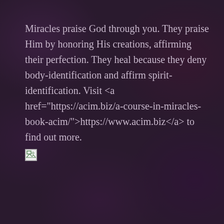Miracles praise God through you. They praise Him by honoring His creations, affirming their perfection. They heal because they deny body-identification and affirm spirit-identification. Visit <a href="https://acim.biz/a-course-in-miracles-book-acim/">https://www.acim.biz</a> to find out more.
[Figure (other): Broken image placeholder icon]